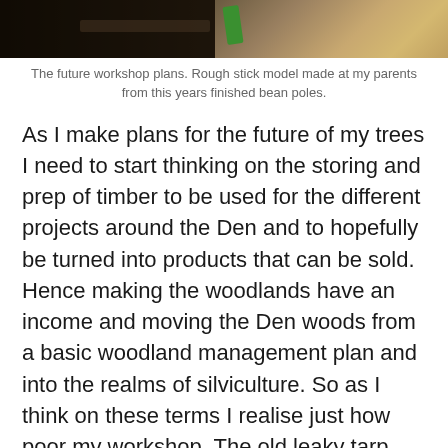[Figure (photo): Partial view of a workshop scene showing tools including what appears to be a green-handled tool, with wood surfaces visible. Image is cropped at top.]
The future workshop plans. Rough stick model made at my parents from this years finished bean poles.
As I make plans for the future of my trees I need to start thinking on the storing and prep of timber to be used for the different projects around the Den and to hopefully be turned into products that can be sold. Hence making the woodlands have an income and moving the Den woods from a basic woodland management plan and into the realms of silviculture. So as I think on these terms I realise just how poor my workshop. The old leaky tarp structure has been vital in housing the cleaving break, the shave horse, my makeshift work bench and my tools rack. It also acts as a storage for my coppiced material, my pallet planks and everything and anything I work on. It has served it